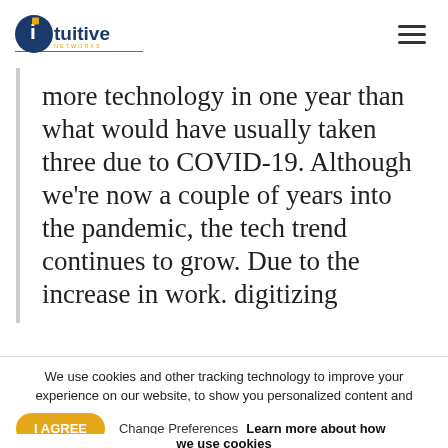intuitive networks
more technology in one year than what would have usually taken three due to COVID-19. Although we're now a couple of years into the pandemic, the tech trend continues to grow. Due to the increase in work. digitizing
We use cookies and other tracking technology to improve your experience on our website, to show you personalized content and targeted ads, to analyze our website traffic and to understand where our visitors are coming from. By browsing our website, you consent to our use of cookies and other tracking technologies.
I AGREE   Change Preferences   Learn more about how we use cookies